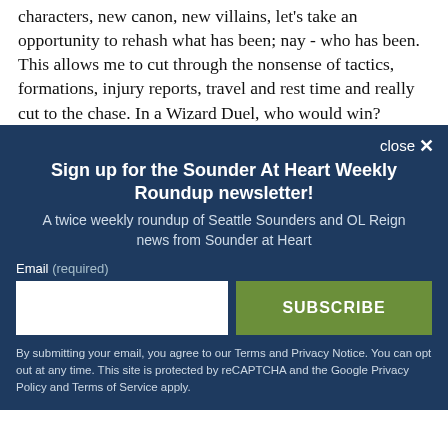characters, new canon, new villains, let's take an opportunity to rehash what has been; nay - who has been. This allows me to cut through the nonsense of tactics, formations, injury reports, travel and rest time and really cut to the chase. In a Wizard Duel, who would win?
close ×
Sign up for the Sounder At Heart Weekly Roundup newsletter!
A twice weekly roundup of Seattle Sounders and OL Reign news from Sounder at Heart
Email (required)
SUBSCRIBE
By submitting your email, you agree to our Terms and Privacy Notice. You can opt out at any time. This site is protected by reCAPTCHA and the Google Privacy Policy and Terms of Service apply.